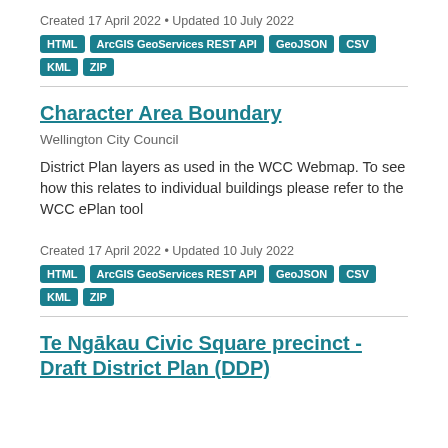Created 17 April 2022 • Updated 10 July 2022
HTML | ArcGIS GeoServices REST API | GeoJSON | CSV | KML | ZIP
Character Area Boundary
Wellington City Council
District Plan layers as used in the WCC Webmap. To see how this relates to individual buildings please refer to the WCC ePlan tool
Created 17 April 2022 • Updated 10 July 2022
HTML | ArcGIS GeoServices REST API | GeoJSON | CSV | KML | ZIP
Te Ngākau Civic Square precinct - Draft District Plan (DDP)